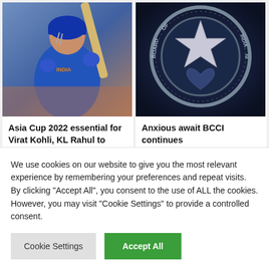[Figure (photo): Cricket player in blue Indian team jersey holding a bat, raising it up]
[Figure (photo): Close-up of BCCI (Board of Control for Cricket in India) logo badge]
Asia Cup 2022 essential for Virat Kohli, KL Rahul to assist India achieve confidence earlier
Anxious await BCCI continues
19 hours ago
ImputationIvan
We use cookies on our website to give you the most relevant experience by remembering your preferences and repeat visits. By clicking "Accept All", you consent to the use of ALL the cookies. However, you may visit "Cookie Settings" to provide a controlled consent.